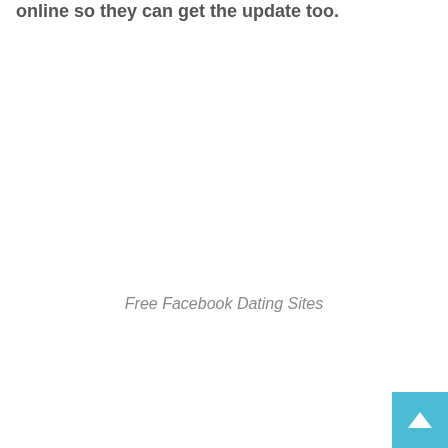online so they can get the update too.
Free Facebook Dating Sites
[Figure (other): Back to top button — a square blue button with an upward-pointing white chevron/arrow in the bottom-right corner of the page.]